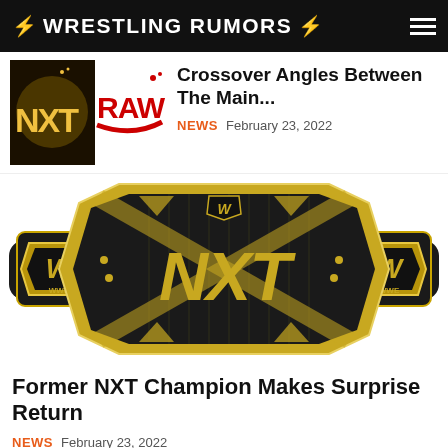⚡ WRESTLING RUMORS ⚡
[Figure (photo): Thumbnail showing NXT logo on dark background alongside red RAW logo on white background]
Crossover Angles Between The Main...
NEWS  February 23, 2022
[Figure (photo): NXT Championship title belt — black leather strap with large gold center plate showing NXT letters and WWE logo, flanked by two side plates also with WWE logos, on white background]
Former NXT Champion Makes Surprise Return
NEWS  February 23, 2022